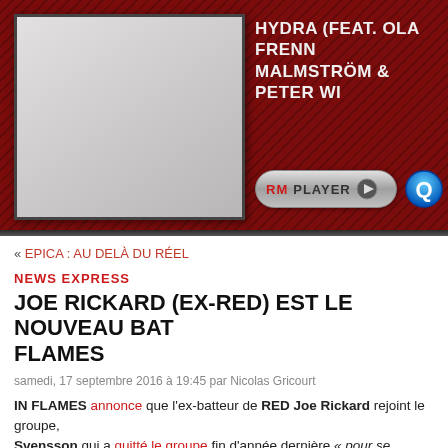[Figure (screenshot): Dark red banner with album art placeholder (grey rectangle) on the left, and text 'HYDRA (FEAT. OLA FRENN... MALMSTRÖM & PETER WI...' on the right, plus an RM PLAYER button and a blue icon.]
« EPICA : AU DELÀ DU RÉEL
NEWS EXPRESS
JOE RICKARD (EX-RED) EST LE NOUVEAU BAT... FLAMES
samedi, 17 septembre 2016 à 19:45 par Nicolas Gricourt
IN FLAMES annonce que l'ex-batteur de RED Joe Rickard rejoint le groupe, ... Svensson qui a quitté le groupe fin d'année dernière « pour se consacrer aux pe... de sa vie ».